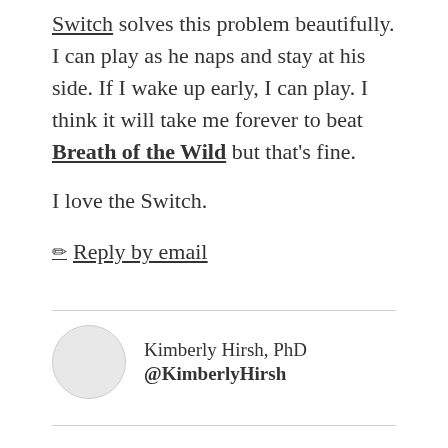Switch solves this problem beautifully. I can play as he naps and stay at his side. If I wake up early, I can play. I think it will take me forever to beat Breath of the Wild but that's fine.
I love the Switch.
✏ Reply by email
Kimberly Hirsh, PhD @KimberlyHirsh